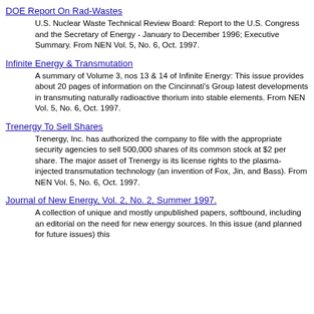DOE Report On Rad-Wastes
U.S. Nuclear Waste Technical Review Board: Report to the U.S. Congress and the Secretary of Energy - January to December 1996; Executive Summary. From NEN Vol. 5, No. 6, Oct. 1997.
Infinite Energy & Transmutation
A summary of Volume 3, nos 13 & 14 of Infinite Energy: This issue provides about 20 pages of information on the Cincinnati's Group latest developments in transmuting naturally radioactive thorium into stable elements. From NEN Vol. 5, No. 6, Oct. 1997.
Trenergy To Sell Shares
Trenergy, Inc. has authorized the company to file with the appropriate security agencies to sell 500,000 shares of its common stock at $2 per share. The major asset of Trenergy is its license rights to the plasma-injected transmutation technology (an invention of Fox, Jin, and Bass). From NEN Vol. 5, No. 6, Oct. 1997.
Journal of New Energy, Vol. 2, No. 2, Summer 1997.
A collection of unique and mostly unpublished papers, softbound, including an editorial on the need for new energy sources. In this issue (and planned for future issues) this